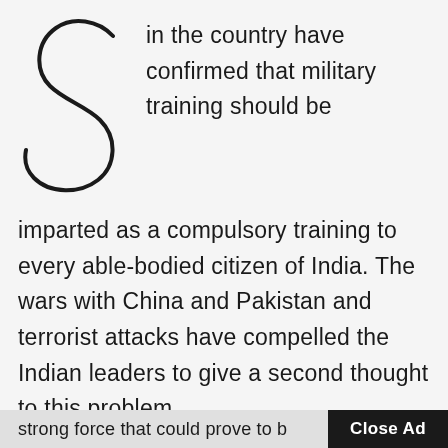in the country have confirmed that military training should be imparted as a compulsory training to every able-bodied citizen of India. The wars with China and Pakistan and terrorist attacks have compelled the Indian leaders to give a second thought to this problem.
Our leaders have realised that in order to meet the challenge, there must be a strong force that could prove to b
Close Ad